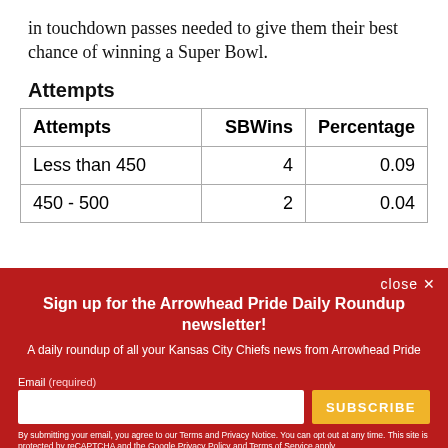in touchdown passes needed to give them their best chance of winning a Super Bowl.
Attempts
| Attempts | SBWins | Percentage |
| --- | --- | --- |
| Less than 450 | 4 | 0.09 |
| 450 - 500 | 2 | 0.04 |
close ✕
Sign up for the Arrowhead Pride Daily Roundup newsletter!
A daily roundup of all your Kansas City Chiefs news from Arrowhead Pride
Email (required)
By submitting your email, you agree to our Terms and Privacy Notice. You can opt out at any time. This site is protected by reCAPTCHA and the Google Privacy Policy and Terms of Service apply.